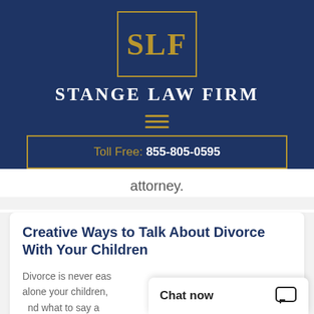[Figure (logo): Stange Law Firm logo with gold SLF letters inside a gold-bordered box on navy background]
Stange Law Firm
[Figure (other): Hamburger menu icon with three gold horizontal lines]
Toll Free: 855-805-0595
attorney.
Creative Ways to Talk About Divorce With Your Children
Divorce is never eas... alone your children,... and what to say...
Chat now